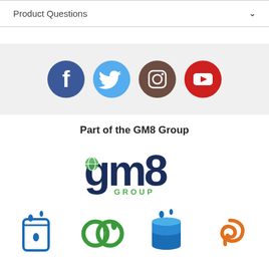Product Questions
[Figure (illustration): Four social media icons in circles: Facebook (dark blue), Twitter (light blue), Instagram (brown), YouTube (red)]
Part of the GM8 Group
[Figure (logo): GM8 Group logo with globe icon in the letter g, text reads gm8 GROUP]
[Figure (illustration): Four brand/partner logos at the bottom: a blue book with drops, green interlocking rings, blue stacked cylinders with drops, and an orange swirling design]